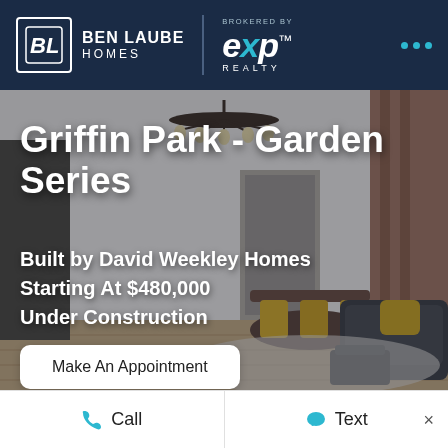[Figure (logo): Ben Laube Homes logo with BL monogram in white box, and eXp Realty brokered by logo, on dark navy header bar]
[Figure (photo): Interior photo of a modern living/dining room with chandelier, yellow chairs, dark sofa with yellow pillow, warm wood floors, and drapes. Text overlaid on image.]
Griffin Park - Garden Series
Built by David Weekley Homes
Starting At $480,000
Under Construction
Make An Appointment
Call   Text   ×